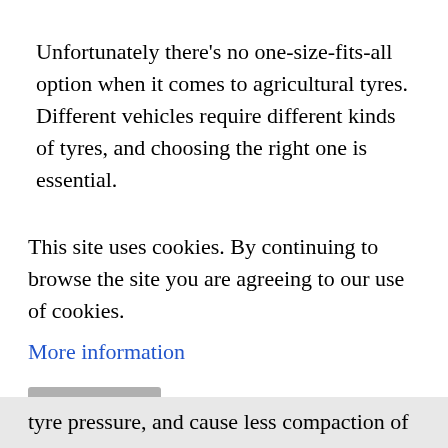Unfortunately there's no one-size-fits-all option when it comes to agricultural tyres. Different vehicles require different kinds of tyres, and choosing the right one is essential.
If you're working in muddy conditions a deeper tread is vital, both for manoeuvrability and safety. An inferior tread can get clogged with mud, giving the tyres less grip on the
This site uses cookies. By continuing to browse the site you are agreeing to our use of cookies.
More information
Continue
tyre pressure, and cause less compaction of